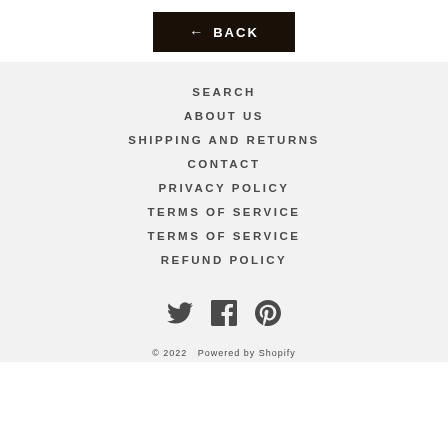← BACK
SEARCH
ABOUT US
SHIPPING AND RETURNS
CONTACT
PRIVACY POLICY
TERMS OF SERVICE
TERMS OF SERVICE
REFUND POLICY
[Figure (other): Social media icons: Twitter, Facebook, Pinterest]
© 2022 Powered by Shopify